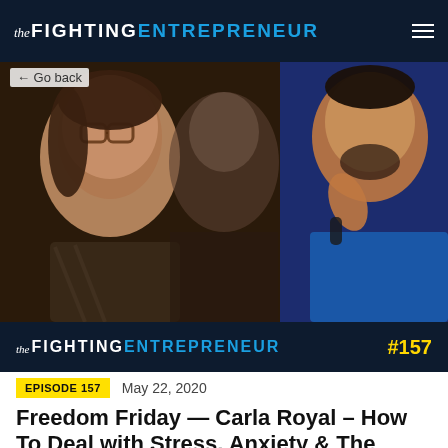The FIGHTING ENTREPRENEUR
[Figure (screenshot): Video thumbnail showing two people — a woman with glasses on the left and a man in a blue shirt on the right — with 'The FIGHTING ENTREPRENEUR #157' overlay bar at the bottom]
← Go back
EPISODE 157    May 22, 2020
Freedom Friday — Carla Royal – How To Deal with Stress, Anxiety & The Inner Fighting Coronavirus Is Creating...